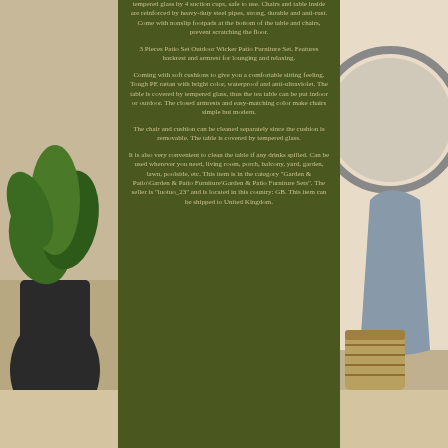tempered glass by 4 suction cups, safe to use. Chairs and table inside are reinforced by heavy-duty steel pipes, strong, durable and anti-rust. Come with nonslip footpads at the bottom of the table and chairs, prevent scratching the floor.
3 Pieces Patio Set Outdoor Wicker Patio Furniture Set. Features backrest and armrest for lounging and relaxing.
Coming with soft cushions to give you a comfortable sitting feeling. Tough PE rattan with bright color, waterproof and anti-ultraviolet. The table is covered by tempered glass, thus the tea table can be put indoor or outdoor. The closed armrests and easy-matching color make chairs simple but modern.
The chair and cushion can be cleaned separately since the cushion is removable. The table is covered by tempered glass.
It is also very convenient to clean the table if any drinks spilled. Can be used wherever you need, living room, porch, balcony, yard, garden, lawn, poolside, etc. This item is in the category "Garden & Patio\Garden & Patio Furniture\Garden & Patio Furniture Sets". The seller is "luotuo_23" and is located in this country: GB. This item can be shipped to United Kingdom.